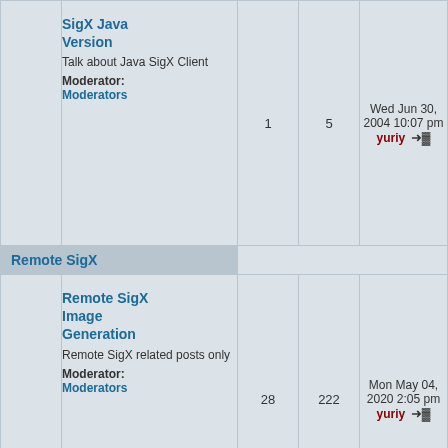|  | Forum | Topics | Posts | Last Post |
| --- | --- | --- | --- | --- |
|  | SigX Java Version
Talk about Java SigX Client
Moderator: Moderators | 1 | 5 | Wed Jun 30, 2004 10:07 pm
yuriy |
| Remote SigX |  |  |  |  |
|  | Remote SigX Image Generation
Remote SigX related posts only
Moderator: Moderators | 28 | 222 | Mon May 04, 2020 2:05 pm
yuriy |
|  | Remote SigX Help
Ask help on Remote SigX only
Moderator: Moderators | 46 | 409 | Thu Nov 27, 2008 7:41 pm
Karanina |
|  | Show Off Remote SigX
Only show off your Remote SigX images
Moderator: Moderators | 29 | 186 | Sat Feb 18, 2006 5:00 am
buddy1007 |